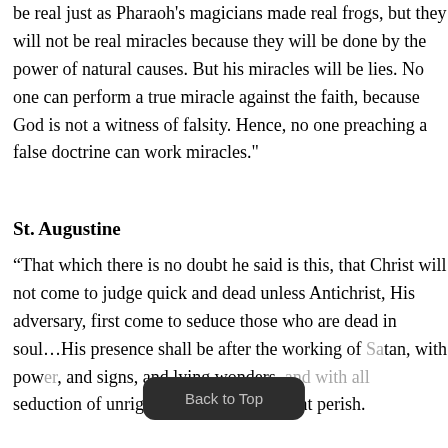be real just as Pharaoh's magicians made real frogs, but they will not be real miracles because they will be done by the power of natural causes. But his miracles will be lies. No one can perform a true miracle against the faith, because God is not a witness of falsity. Hence, no one preaching a false doctrine can work miracles."
St. Augustine
“That which there is no doubt he said is this, that Christ will not come to judge quick and dead unless Antichrist, His adversary, first come to seduce those who are dead in soul…His presence shall be after the working of [Sa]tan, with power, and signs, and lying wonders, and with all seduction of unrighteousness in them that perish.